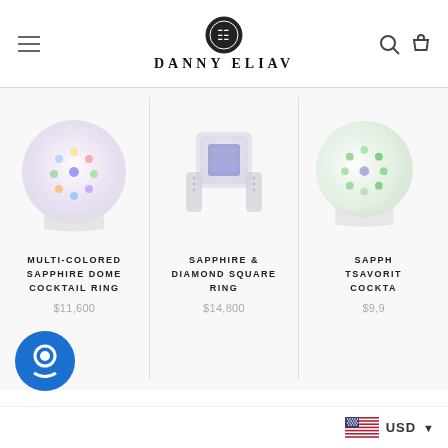DANNY ELIAV
[Figure (photo): Multi-Colored Sapphire Dome Cocktail Ring product photo]
MULTI-COLORED SAPPHIRE DOME COCKTAIL RING
$11,600
[Figure (photo): Sapphire & Diamond Square Ring product photo]
SAPPHIRE & DIAMOND SQUARE RING
$14,800
[Figure (photo): Sapphire Tsavorite Cocktail Ring product photo (partially cropped)]
SAPPH TSAVORIT COCKTA
$9,9
USD